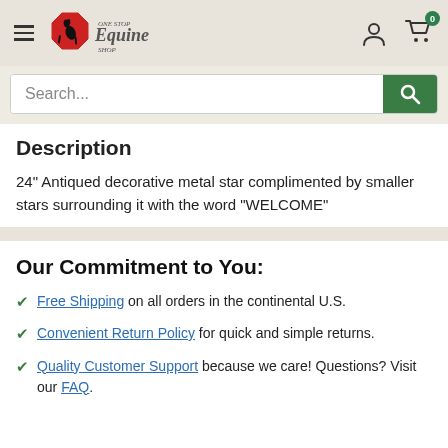One Stop Equine Shop — navigation header with hamburger menu, logo, user icon, and cart (0)
Search...
Description
24" Antiqued decorative metal star complimented by smaller stars surrounding it with the word "WELCOME"
Our Commitment to You:
Free Shipping on all orders in the continental U.S.
Convenient Return Policy for quick and simple returns.
Quality Customer Support because we care! Questions? Visit our FAQ.